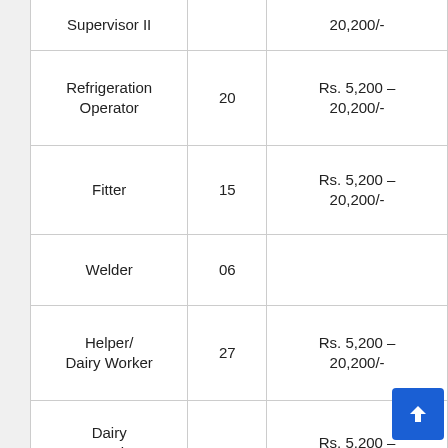| Post | Vacancies | Pay Scale |
| --- | --- | --- |
| Supervisor II |  | 20,200/- |
| Refrigeration Operator | 20 | Rs. 5,200 – 20,200/- |
| Fitter | 15 | Rs. 5,200 – 20,200/- |
| Welder | 06 |  |
| Helper/ Dairy Worker | 27 | Rs. 5,200 – 20,200/- |
| Dairy Supervisor III | 13 | Rs. 5,200 – 20,200/- |
| Village Extension Worker/ | 20 | Rs. 5,200 – |